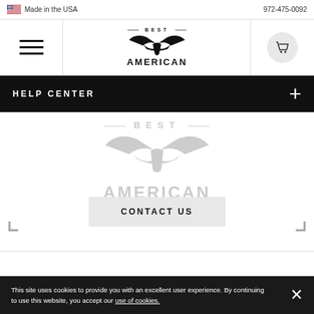Made in the USA   972-475-0092
[Figure (logo): Best American eagle logo in navigation bar]
HELP CENTER
[Figure (logo): Best American eagle logo watermark (light gray) in main content area]
CONTACT US
This site uses cookies to provide you with an excellent user experience. By continuing to use this website, you accept our use of cookies.